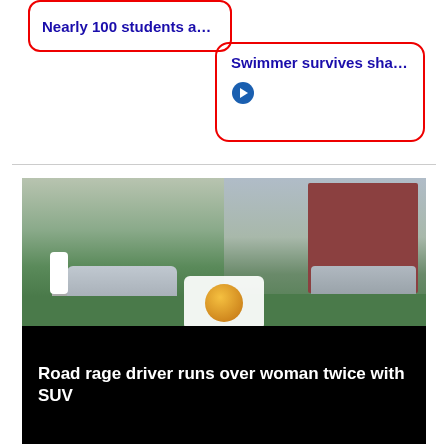Nearly 100 students a…
Swimmer survives sha…
[Figure (photo): Video thumbnail showing two side-by-side scenes of a residential street with cars and a person walking, with a play button overlay. Bottom half has black background with white bold text: Road rage driver runs over woman twice with SUV]
Road rage driver runs over woman twice with SUV